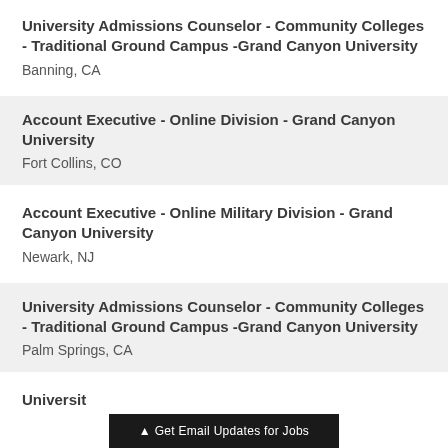University Admissions Counselor - Community Colleges - Traditional Ground Campus -Grand Canyon University
Banning, CA
Account Executive - Online Division - Grand Canyon University
Fort Collins, CO
Account Executive - Online Military Division - Grand Canyon University
Newark, NJ
University Admissions Counselor - Community Colleges - Traditional Ground Campus -Grand Canyon University
Palm Springs, CA
▲ Get Email Updates for Jobs
Universit…